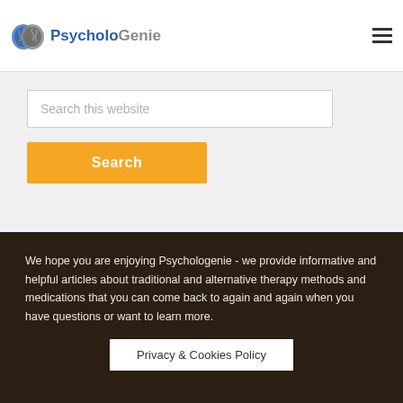PsycholoGenie
Search this website
Search
We hope you are enjoying Psychologenie - we provide informative and helpful articles about traditional and alternative therapy methods and medications that you can come back to again and again when you have questions or want to learn more.
Privacy & Cookies Policy